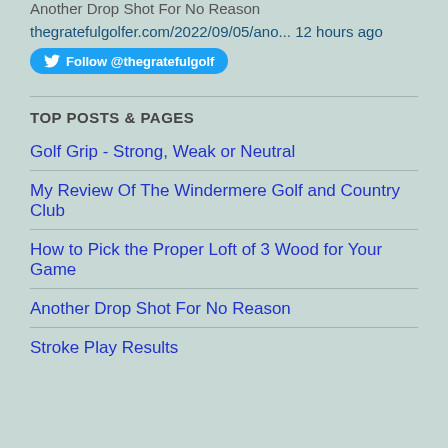Another Drop Shot For No Reason
thegratefulgolfer.com/2022/09/05/ano... 12 hours ago
Follow @thegratefulgolf
TOP POSTS & PAGES
Golf Grip - Strong, Weak or Neutral
My Review Of The Windermere Golf and Country Club
How to Pick the Proper Loft of 3 Wood for Your Game
Another Drop Shot For No Reason
Stroke Play Results